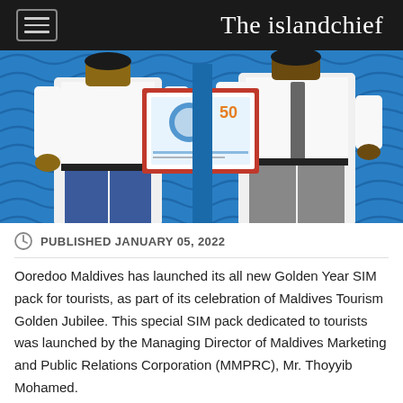The islandchief
[Figure (photo): Two men in formal attire exchanging or presenting a framed item in front of a blue patterned background with wavy lines. The frame appears to contain a colorful design with the number 50.]
PUBLISHED JANUARY 05, 2022
Ooredoo Maldives has launched its all new Golden Year SIM pack for tourists, as part of its celebration of Maldives Tourism Golden Jubilee. This special SIM pack dedicated to tourists was launched by the Managing Director of Maldives Marketing and Public Relations Corporation (MMPRC), Mr. Thoyyib Mohamed.
The special SIM Pack includes massive data allowances